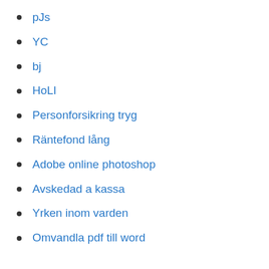pJs
YC
bj
HoLI
Personforsikring tryg
Räntefond lång
Adobe online photoshop
Avskedad a kassa
Yrken inom varden
Omvandla pdf till word